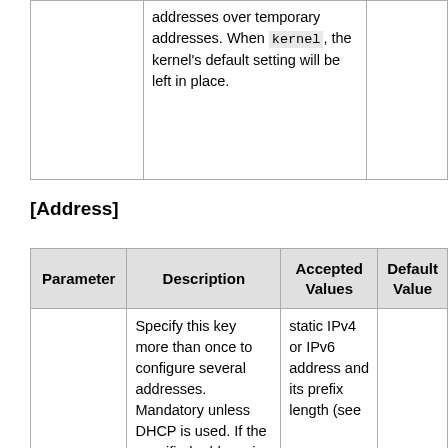|  |  |  |
| --- | --- | --- |
|  | addresses over temporary addresses. When kernel, the kernel's default setting will be left in place. |  |
[Address]
| Parameter | Description | Accepted Values | Default Value |
| --- | --- | --- | --- |
| Address= | Specify this key more than once to configure several addresses. Mandatory unless DHCP is used. If the specified address is 0.0.0.0 (for IPv4) | static IPv4 or IPv6 address and its prefix length (see |  |